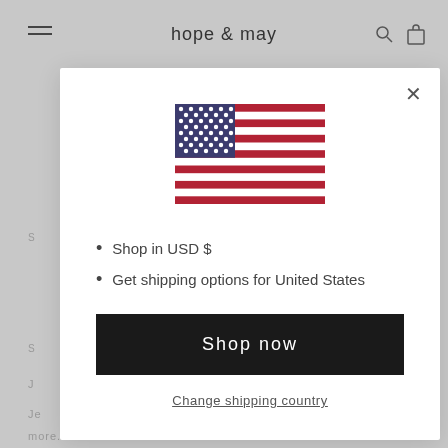hope & may
[Figure (screenshot): US flag SVG illustration shown in modal dialog]
Shop in USD $
Get shipping options for United States
Shop now
Change shipping country